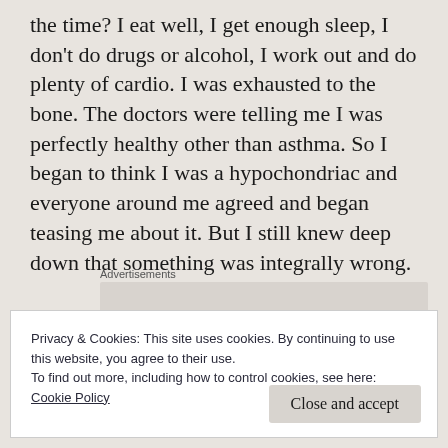the time? I eat well, I get enough sleep, I don't do drugs or alcohol, I work out and do plenty of cardio. I was exhausted to the bone. The doctors were telling me I was perfectly healthy other than asthma. So I began to think I was a hypochondriac and everyone around me agreed and began teasing me about it. But I still knew deep down that something was integrally wrong.
Advertisements
Privacy & Cookies: This site uses cookies. By continuing to use this website, you agree to their use.
To find out more, including how to control cookies, see here:
Cookie Policy